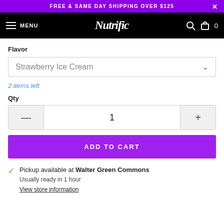FREE & SAME DAY SHIPPING OVER $125
[Figure (logo): Nutrific brand logo in white script on black navigation bar with hamburger menu, search icon, and cart icon]
Flavor
Strawberry Ice Cream
2 items left
Qty
1
ADD TO CART
Pickup available at Walter Green Commons
Usually ready in 1 hour
View store information